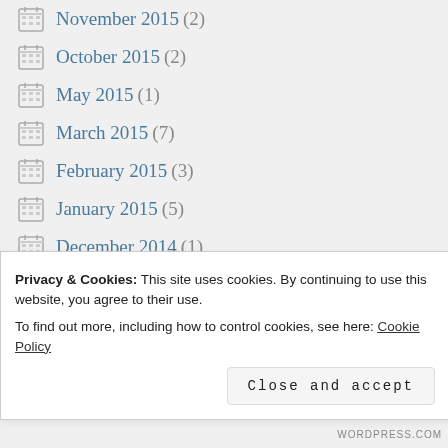November 2015 (2)
October 2015 (2)
May 2015 (1)
March 2015 (7)
February 2015 (3)
January 2015 (5)
December 2014 (1)
November 2014 (6)
October 2014 (3)
September 2014 (1)
Privacy & Cookies: This site uses cookies. By continuing to use this website, you agree to their use. To find out more, including how to control cookies, see here: Cookie Policy
Close and accept